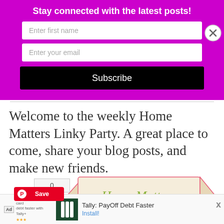Stay connected with the latest posts!
Enter first name
Enter your email
Subscribe
Welcome to the weekly Home Matters Linky Party. A great place to come, share your blog posts, and make new friends.
[Figure (illustration): Home Matters Linky Party banner with ribbon/scroll design in pink and cream with green cursive text]
[Figure (screenshot): Ad banner: Tally PayOff Debt Faster app advertisement with install button]